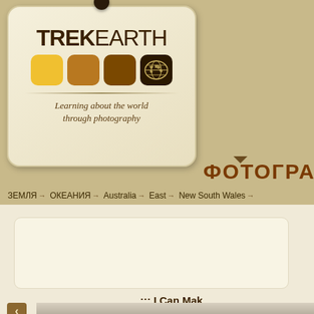[Figure (logo): TrekEarth logo tag with colored squares and world map icon, tagline: Learning about the world through photography]
Home   Gallery   Forums   C...
ФОТОГРАФИИ
ЗЕМЛЯ → ОКЕАНИЯ → Australia → East → New South Wales →